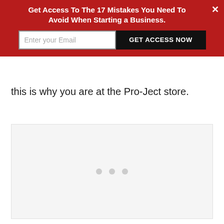Get Access To The 17 Mistakes You Need To Avoid When Starting a Business.
[Figure (other): Email signup form with text input labeled 'Enter your Email' and a black button labeled 'GET ACCESS NOW', with a close (×) button, on a dark red background]
this is why you are at the Pro-Ject store.
[Figure (other): Large light gray placeholder image box with three small gray dots centered near the bottom, indicating a loading or empty image carousel]